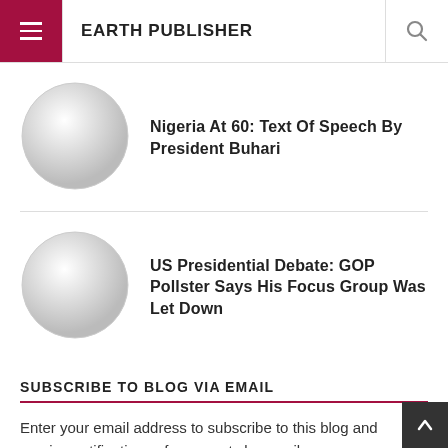EARTH PUBLISHER
[Figure (illustration): Circular thumbnail placeholder (grey gradient circle) for article 1]
Nigeria At 60: Text Of Speech By President Buhari
[Figure (illustration): Circular thumbnail placeholder (grey gradient circle) for article 2]
US Presidential Debate: GOP Pollster Says His Focus Group Was Let Down
SUBSCRIBE TO BLOG VIA EMAIL
Enter your email address to subscribe to this blog and receive notifications of new posts by email.
Join 973 other subscribers